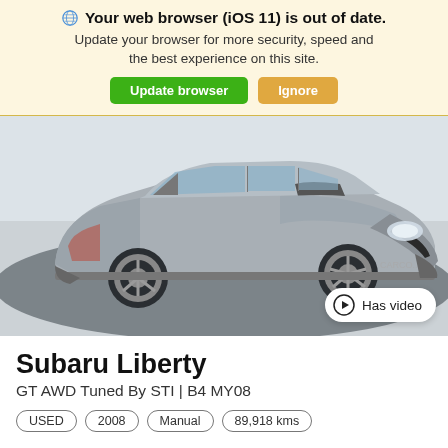Your web browser (iOS 11) is out of date. Update your browser for more security, speed and the best experience on this site. Update browser | Ignore
[Figure (photo): Silver Subaru Liberty GT AWD sedan photographed on a dark studio floor, front three-quarter view, with a CarCo watermark visible on the bumper]
Subaru Liberty
GT AWD Tuned By STI | B4 MY08
USED | 2008 | Manual | 89,918 kms